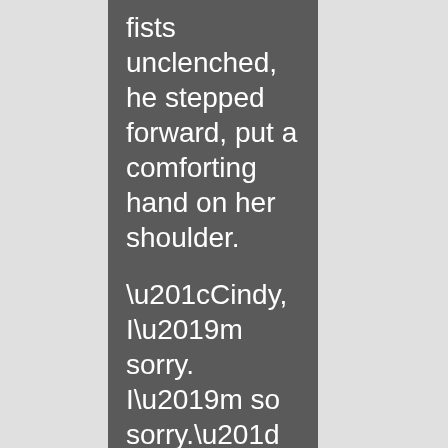fists unclenched, he stepped forward, put a comforting hand on her shoulder.
“Cindy, I’m sorry. I’m so sorry.”
“Don’t you fucking touch me!” Her arms shot